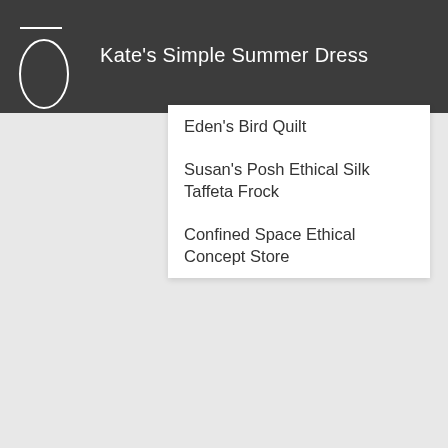Kate's Simple Summer Dress
Eden's Bird Quilt
Susan's Posh Ethical Silk Taffeta Frock
Confined Space Ethical Concept Store
RECENT COMMENTS
Lu Underwood on Eco Fashion Design|Nobody said it was easy
Eugenio on Dust off your sewing machine: 5 easy fabric patterns for this bank holiday
E-book update | My Make Do and Mend